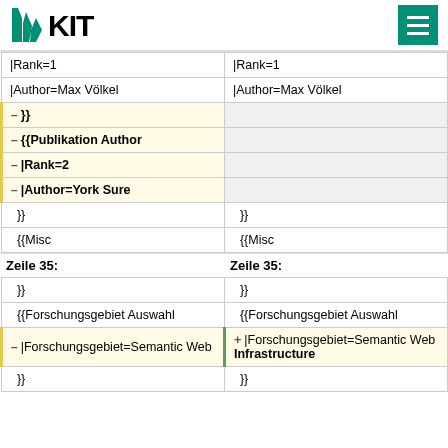KIT logo and navigation menu
| Left (old) | Right (new) |
| --- | --- |
| |Rank=1 | |Rank=1 |
| |Author=Max Völkel | |Author=Max Völkel |
| – }} |  |
| – {{Publikation Author |  |
| – |Rank=2 |  |
| – |Author=York Sure |  |
| }} | }} |
| {{Misc | {{Misc |
| Zeile 35: | Zeile 35: |
| }} | }} |
| {{Forschungsgebiet Auswahl | {{Forschungsgebiet Auswahl |
| – |Forschungsgebiet=Semantic Web | + |Forschungsgebiet=Semantic Web Infrastructure |
| }} | }} |